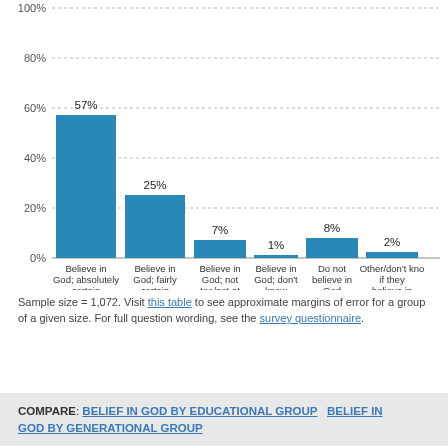[Figure (bar-chart): ]
Sample size = 1,072. Visit this table to see approximate margins of error for a group of a given size. For full question wording, see the survey questionnaire.
COMPARE: BELIEF IN GOD BY EDUCATIONAL GROUP  BELIEF IN GOD BY GENERATIONAL GROUP